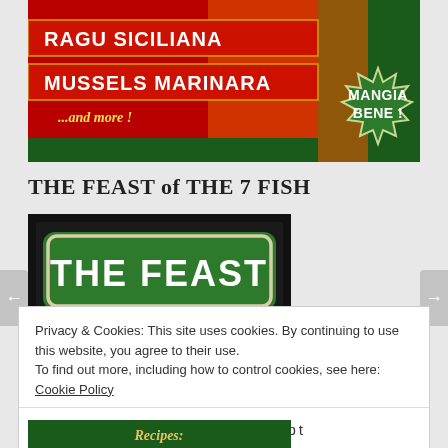[Figure (illustration): Colorful Italian food advertisement banner with red background, diagonal strips reading 'RAGU SICILIANA' and 'MUSSELS MARINARA', '...and more!' in cursive, and a green starburst badge reading 'MANGIA BENE !' on the right side.]
THE FEAST of THE 7 FISH
[Figure (illustration): Book cover on dark background showing a green rounded rectangle label with white bold text 'THE FEAST']
Privacy & Cookies: This site uses cookies. By continuing to use this website, you agree to their use.
To find out more, including how to control cookies, see here: Cookie Policy
Close and accept
[Figure (illustration): Bottom portion of book cover, green background with cursive 'Recipes:' text in gold]